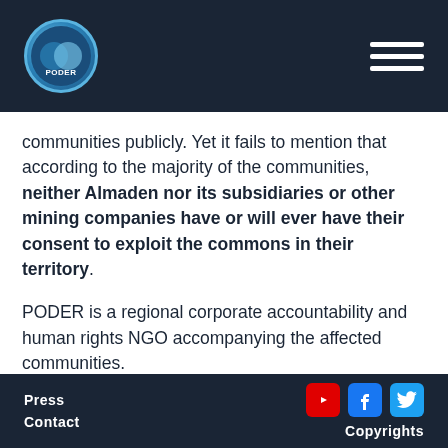PODER logo and navigation menu
communities publicly. Yet it fails to mention that according to the majority of the communities, neither Almaden nor its subsidiaries or other mining companies have or will ever have their consent to exploit the commons in their territory.
PODER is a regional corporate accountability and human rights NGO accompanying the affected communities.
Press | Contact | YouTube | Facebook | Twitter | Copyrights